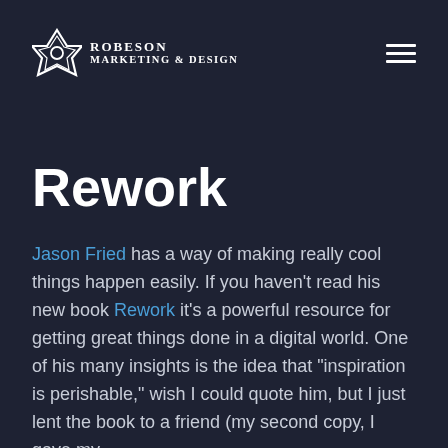Robeson Marketing & Design
Rework
Jason Fried has a way of making really cool things happen easily. If you haven't read his new book Rework it's a powerful resource for getting great things done in a digital world. One of his many insights is the idea that "inspiration is perishable," wish I could quote him, but I just lent the book to a friend (my second copy, I gave my